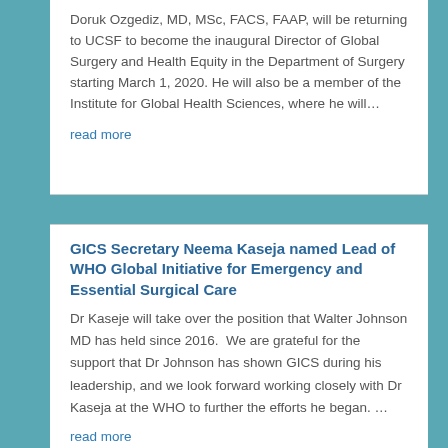Doruk Ozgediz, MD, MSc, FACS, FAAP, will be returning to UCSF to become the inaugural Director of Global Surgery and Health Equity in the Department of Surgery starting March 1, 2020. He will also be a member of the Institute for Global Health Sciences, where he will…
read more
GICS Secretary Neema Kaseja named Lead of WHO Global Initiative for Emergency and Essential Surgical Care
Dr Kaseje will take over the position that Walter Johnson MD has held since 2016.  We are grateful for the support that Dr Johnson has shown GICS during his leadership, and we look forward working closely with Dr Kaseja at the WHO to further the efforts he began. …
read more